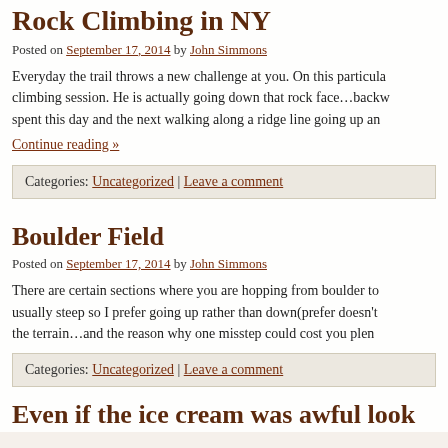Rock Climbing in NY
Posted on September 17, 2014 by John Simmons
Everyday the trail throws a new challenge at you. On this particular climbing session. He is actually going down that rock face…backwards. spent this day and the next walking along a ridge line going up an
Continue reading »
Categories: Uncategorized | Leave a comment
Boulder Field
Posted on September 17, 2014 by John Simmons
There are certain sections where you are hopping from boulder to usually steep so I prefer going up rather than down(prefer doesn't the terrain…and the reason why one misstep could cost you plen
Categories: Uncategorized | Leave a comment
Even if the ice cream was awful look